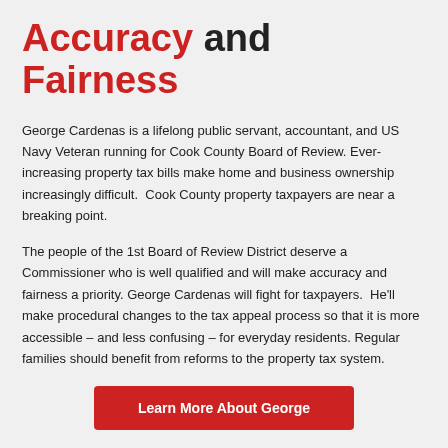Accuracy and Fairness
George Cardenas is a lifelong public servant, accountant, and US Navy Veteran running for Cook County Board of Review. Ever-increasing property tax bills make home and business ownership increasingly difficult. Cook County property taxpayers are near a breaking point.
The people of the 1st Board of Review District deserve a Commissioner who is well qualified and will make accuracy and fairness a priority. George Cardenas will fight for taxpayers. He'll make procedural changes to the tax appeal process so that it is more accessible – and less confusing – for everyday residents. Regular families should benefit from reforms to the property tax system.
Learn More About George